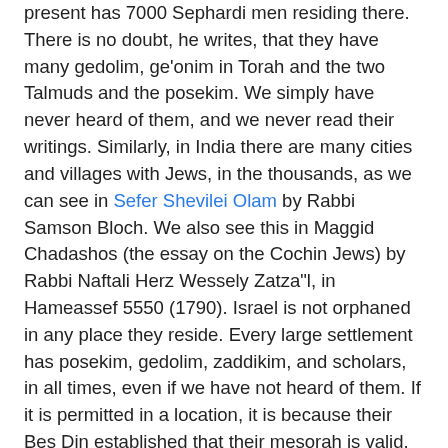present has 7000 Sephardi men residing there. There is no doubt, he writes, that they have many gedolim, ge'onim in Torah and the two Talmuds and the posekim. We simply have never heard of them, and we never read their writings. Similarly, in India there are many cities and villages with Jews, in the thousands, as we can see in Sefer Shevilei Olam by Rabbi Samson Bloch. We also see this in Maggid Chadashos (the essay on the Cochin Jews) by Rabbi Naftali Herz Wessely Zatza"l, in Hameassef 5550 (1790). Israel is not orphaned in any place they reside. Every large settlement has posekim, gedolim, zaddikim, and scholars, in all times, even if we have not heard of them. If it is permitted in a location, it is because their Bes Din established that their mesorah is valid, with proper procedures, and therefore it was permitted to them.
He then cites an unnamed German rabbi who states that in locations where itis known that there are no Bnei Torah, gedolim or posekim, then you cannot bring proof from their practice.
All of this pertains, by the way, not only to India, but also to